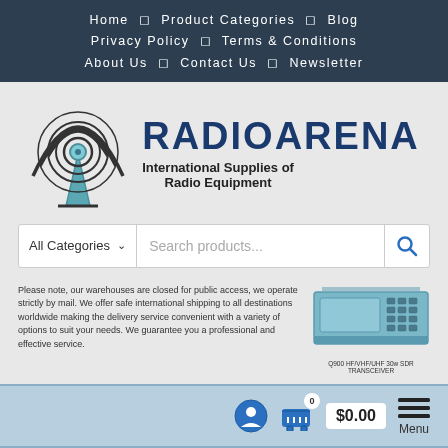Home | Product Categories | Blog | Privacy Policy | Terms & Conditions | About Us | Contact Us | Newsletter
[Figure (logo): RadioArena logo with radio tower icon and text 'RADIOARENA International Supplies of Radio Equipment']
All Categories ⌄   Search products...
Please note, our warehouses are closed for public access, we operate strictly by mail. We offer safe international shipping to all destinations worldwide making the delivery service convenient with a variety of options to suit your needs. We guarantee you a professional and effective service.
[Figure (photo): Q900 HF/VHF/UHF 30w SDR TRANSCEIVER product image]
Q900 HF/VHF/UHF 30w SDR TRANSCEIVER
$0.00
[Figure (logo): mfj logo in italic grey text]